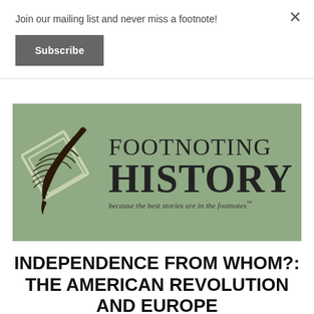Join our mailing list and never miss a footnote!
Subscribe
[Figure (logo): Footnoting History logo on sage green background. Features a quill feather pen overlaid on a diamond shape on the left, with 'FOOTNOTING HISTORY' in large serif text and tagline 'because the best stories are in the footnotes' below.]
INDEPENDENCE FROM WHOM?: THE AMERICAN REVOLUTION AND EUROPE